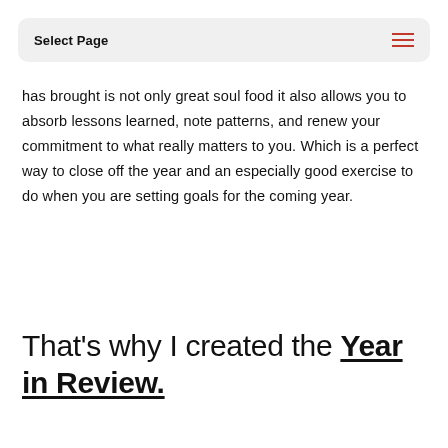Select Page
has brought is not only great soul food it also allows you to absorb lessons learned, note patterns, and renew your commitment to what really matters to you. Which is a perfect way to close off the year and an especially good exercise to do when you are setting goals for the coming year.
That's why I created the Year in Review.